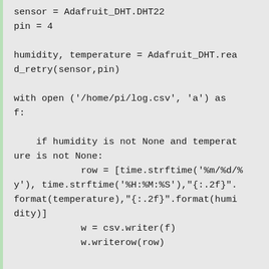sensor = Adafruit_DHT.DHT22
pin = 4

humidity, temperature = Adafruit_DHT.read_retry(sensor,pin)

with open ('/home/pi/log.csv', 'a') as f:

    if humidity is not None and temperature is not None:
            row = [time.strftime('%m/%d/%y'), time.strftime('%H:%M:%S'),"{:.2f}".format(temperature),"{:.2f}".format(humidity)]
            w = csv.writer(f)
            w.writerow(row)